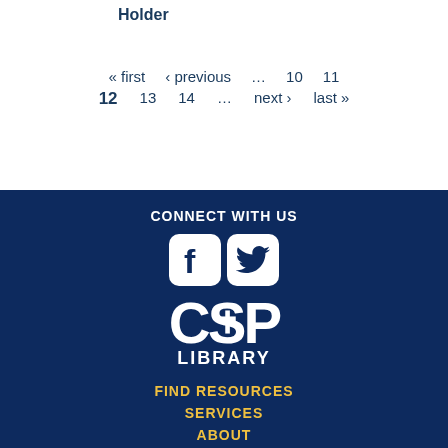Holder
« first  ‹ previous  …  10  11  12  13  14  …  next ›  last »
CONNECT WITH US
[Figure (logo): CSP Library logo with Facebook and Twitter social media icons above, white text on dark blue background]
FIND RESOURCES
SERVICES
ABOUT